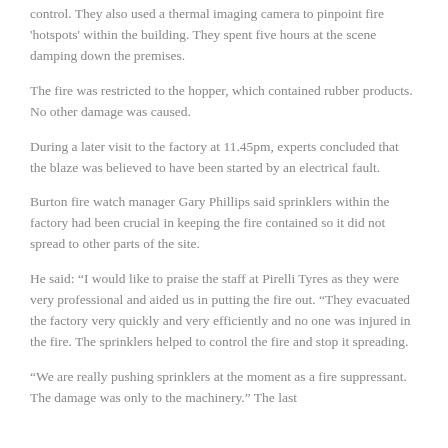control. They also used a thermal imaging camera to pinpoint fire 'hotspots' within the building. They spent five hours at the scene damping down the premises.
The fire was restricted to the hopper, which contained rubber products. No other damage was caused.
During a later visit to the factory at 11.45pm, experts concluded that the blaze was believed to have been started by an electrical fault.
Burton fire watch manager Gary Phillips said sprinklers within the factory had been crucial in keeping the fire contained so it did not spread to other parts of the site.
He said: “I would like to praise the staff at Pirelli Tyres as they were very professional and aided us in putting the fire out. “They evacuated the factory very quickly and very efficiently and no one was injured in the fire. The sprinklers helped to control the fire and stop it spreading.
“We are really pushing sprinklers at the moment as a fire suppressant. The damage was only to the machinery.” The last